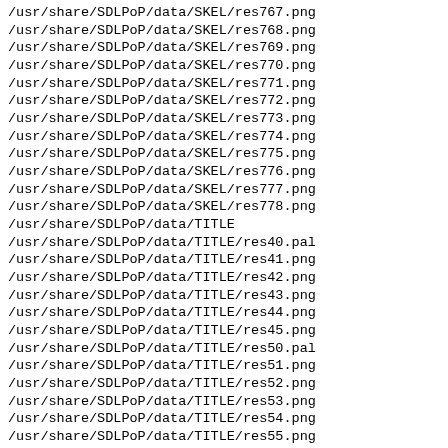/usr/share/SDLPoP/data/SKEL/res767.png
/usr/share/SDLPoP/data/SKEL/res768.png
/usr/share/SDLPoP/data/SKEL/res769.png
/usr/share/SDLPoP/data/SKEL/res770.png
/usr/share/SDLPoP/data/SKEL/res771.png
/usr/share/SDLPoP/data/SKEL/res772.png
/usr/share/SDLPoP/data/SKEL/res773.png
/usr/share/SDLPoP/data/SKEL/res774.png
/usr/share/SDLPoP/data/SKEL/res775.png
/usr/share/SDLPoP/data/SKEL/res776.png
/usr/share/SDLPoP/data/SKEL/res777.png
/usr/share/SDLPoP/data/SKEL/res778.png
/usr/share/SDLPoP/data/TITLE
/usr/share/SDLPoP/data/TITLE/res40.pal
/usr/share/SDLPoP/data/TITLE/res41.png
/usr/share/SDLPoP/data/TITLE/res42.png
/usr/share/SDLPoP/data/TITLE/res43.png
/usr/share/SDLPoP/data/TITLE/res44.png
/usr/share/SDLPoP/data/TITLE/res45.png
/usr/share/SDLPoP/data/TITLE/res50.pal
/usr/share/SDLPoP/data/TITLE/res51.png
/usr/share/SDLPoP/data/TITLE/res52.png
/usr/share/SDLPoP/data/TITLE/res53.png
/usr/share/SDLPoP/data/TITLE/res54.png
/usr/share/SDLPoP/data/TITLE/res55.png
/usr/share/SDLPoP/data/VDUNGEON
/usr/share/SDLPoP/data/VDUNGEON/res200.pal
/usr/share/SDLPoP/data/VDUNGEON/res230.png
/usr/share/SDLPoP/data/VDUNGEON/res231.png
/usr/share/SDLPoP/data/VDUNGEON/res232.png